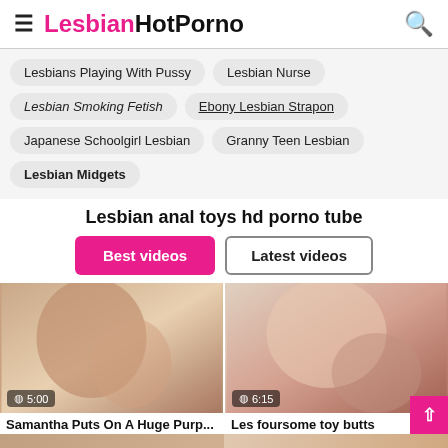LesbianHotPorno
Lesbians Playing With Pussy
Lesbian Nurse
Lesbian Smoking Fetish
Ebony Lesbian Strapon
Japanese Schoolgirl Lesbian
Granny Teen Lesbian
Lesbian Midgets
Lesbian anal toys hd porno tube
Best videos | Latest videos
Samantha Puts On A Huge Purp...
Les foursome toy butts